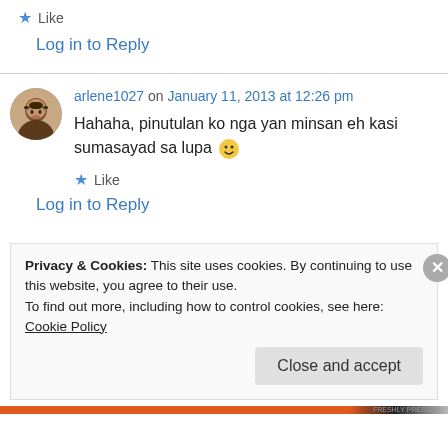★ Like
Log in to Reply
arlene1027 on January 11, 2013 at 12:26 pm
Hahaha, pinutulan ko nga yan minsan eh kasi sumasayad sa lupa 🙂
★ Like
Log in to Reply
Privacy & Cookies: This site uses cookies. By continuing to use this website, you agree to their use.
To find out more, including how to control cookies, see here: Cookie Policy
Close and accept